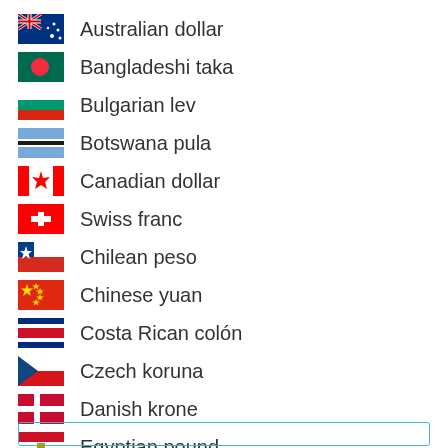Australian dollar
Bangladeshi taka
Bulgarian lev
Botswana pula
Canadian dollar
Swiss franc
Chilean peso
Chinese yuan
Costa Rican colón
Czech koruna
Danish krone
Egyptian pound
Euro